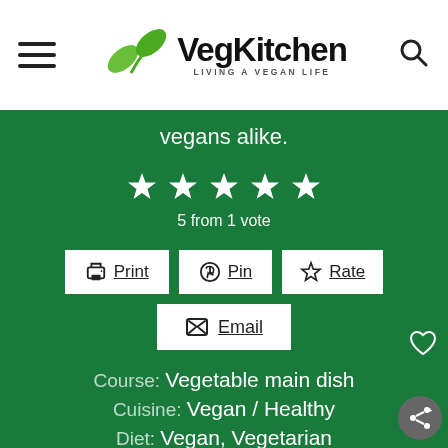VegKitchen — LIVING A VEGAN LIFE
vegans alike.
[Figure (other): 5 star rating display — 5 filled stars]
5 from 1 vote
Print  Pin  Rate  Email
Course: Vegetable main dish
Cuisine: Vegan / Healthy
Diet: Vegan, Vegetarian
Keyword: Stuffed Green Bell Peppers
Prep Time: 20 minutes